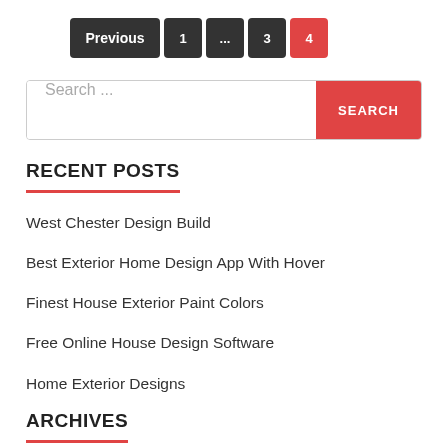[Figure (other): Pagination bar with buttons: Previous, 1, ..., 3, 4 (active, red)]
[Figure (other): Search bar with text input placeholder 'Search...' and red SEARCH button]
RECENT POSTS
West Chester Design Build
Best Exterior Home Design App With Hover
Finest House Exterior Paint Colors
Free Online House Design Software
Home Exterior Designs
ARCHIVES